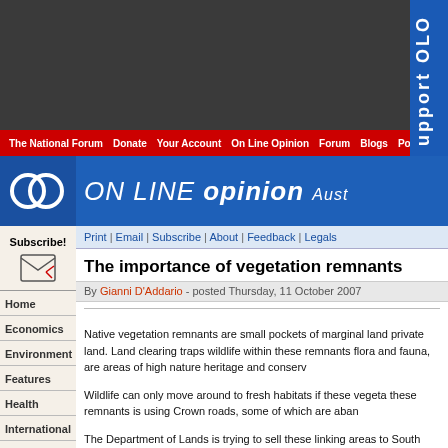[Figure (screenshot): Dark top banner of a news/opinion website]
The National Forum | Donate | Your Account | On Line Opinion | Forum | Blogs | Polling
[Figure (logo): ON LINE opinion Australia logo with two overlapping circles]
Print | Email | Subscribe | About | Feedback | Legals
The importance of vegetation remnants
By Gianni D'Addario - posted Thursday, 11 October 2007
Native vegetation remnants are small pockets of marginal land private land. Land clearing traps wildlife within these remnants flora and fauna, are areas of high nature heritage and conservation value.
Wildlife can only move around to fresh habitats if these vegetation remnants is using Crown roads, some of which are abandoned.
The Department of Lands is trying to sell these linking areas to South Wales and ACT bush environmental organisations are
Subscribe!
Home
Economics
Environment
Features
Health
International
Leisure
People
Politics
Technology